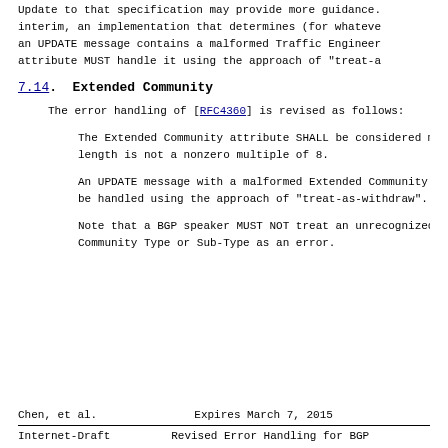Update to that specification may provide more guidance. In the interim, an implementation that determines (for whatever reason) an UPDATE message contains a malformed Traffic Engineering attribute MUST handle it using the approach of "treat-a
7.14. Extended Community
The error handling of [RFC4360] is revised as follows:
The Extended Community attribute SHALL be considered malformed if its length is not a nonzero multiple of 8.
An UPDATE message with a malformed Extended Community attribute MUST be handled using the approach of "treat-as-withdraw".
Note that a BGP speaker MUST NOT treat an unrecognized Extended Community Type or Sub-Type as an error.
Chen, et al.                    Expires March 7, 2015
Internet-Draft        Revised Error Handling for BGP